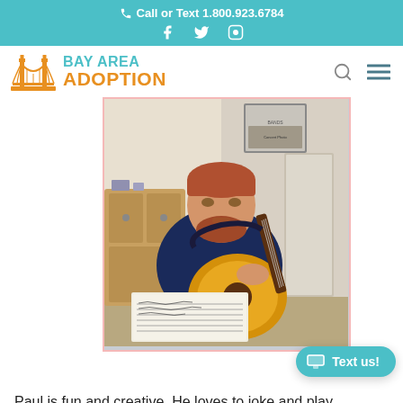Call or Text 1.800.923.6784
[Figure (logo): Bay Area Adoption logo with Golden Gate Bridge graphic and teal/orange text]
[Figure (photo): A man with a beard wearing a navy polo shirt playing an acoustic guitar, reading from sheet music on a stand, in a home room with framed posters in the background]
Paul is fun and creative. He loves to joke and play